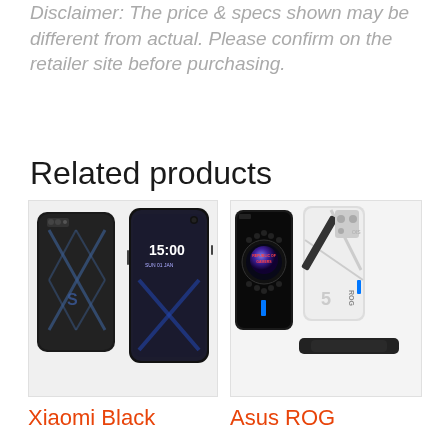Disclaimer: The price & specs shown may be different from actual. Please confirm on the retailer site before purchasing.
Related products
[Figure (photo): Xiaomi Black Shark gaming smartphone shown from front and back angles against a dark background, displaying time 15:00 on screen]
Xiaomi Black
[Figure (photo): Asus ROG gaming smartphone shown from multiple angles including front, back, and side views in black and white color options]
Asus ROG